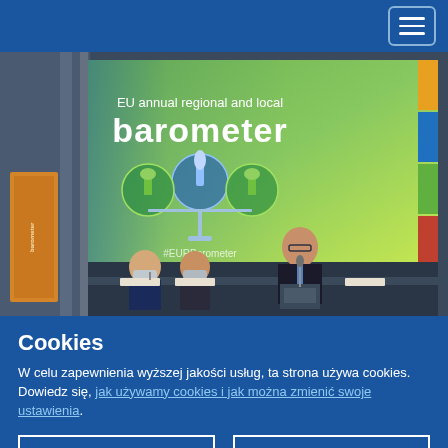[Figure (photo): Conference photo showing a speaker at a podium in front of a large screen displaying 'EU annual regional and local barometer' with a balance scale graphic and #EURBarometer hashtag. Several people seated at a table in the foreground wearing face masks.]
Cookies
W celu zapewnienia wyższej jakości usług, ta strona używa cookies. Dowiedz się, jak używamy cookies i jak można zmienić swoje ustawienia.
Akceptuję cookies
Nie akceptuję cookies